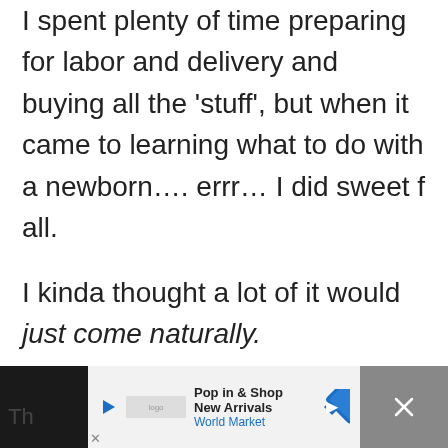I spent plenty of time preparing for labor and delivery and buying all the 'stuff', but when it came to learning what to do with a newborn…. errr… I did sweet f all.

I kinda thought a lot of it would just come naturally.

I kinda didn't give the whole newborn phase, or motherhood in general, nearly enough thought.
Th...